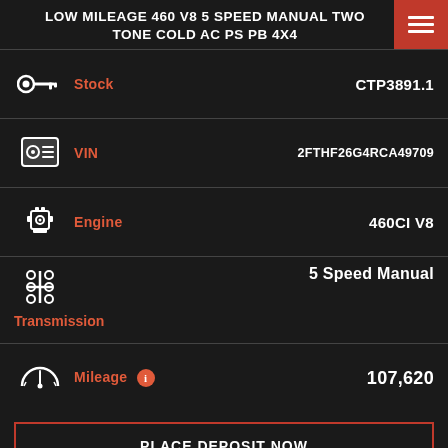LOW MILEAGE 460 V8 5 SPEED MANUAL TWO TONE COLD AC PS PB 4X4
| Field | Value |
| --- | --- |
| Stock | CTP3891.1 |
| VIN | 2FTHF26G4RCA49709 |
| Engine | 460CI V8 |
| Transmission | 5 Speed Manual |
| Mileage | 107,620 |
PLACE DEPOSIT NOW
REQUEST MORE INFO